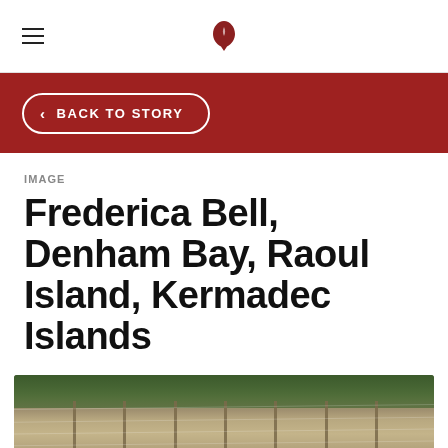≡  [coffee bean logo]
< BACK TO STORY
IMAGE
Frederica Bell, Denham Bay, Raoul Island, Kermadec Islands
[Figure (photo): Photograph of a thatched-roof structure with bamboo poles supporting the roof, surrounded by lush green vegetation at Denham Bay, Raoul Island, Kermadec Islands. The building has white walls visible at the bottom.]